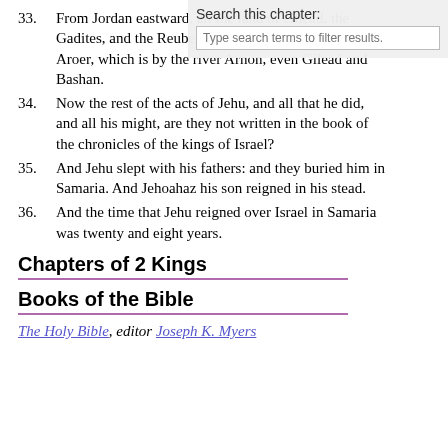33. From Jordan eastward, all the land of Gilead, the Gadites, and the Reubenites, and the Manassites, from Aroer, which is by the river Arnon, even Gilead and Bashan.
34. Now the rest of the acts of Jehu, and all that he did, and all his might, are they not written in the book of the chronicles of the kings of Israel?
35. And Jehu slept with his fathers: and they buried him in Samaria. And Jehoahaz his son reigned in his stead.
36. And the time that Jehu reigned over Israel in Samaria was twenty and eight years.
Chapters of 2 Kings
Books of the Bible
The Holy Bible, editor Joseph K. Myers